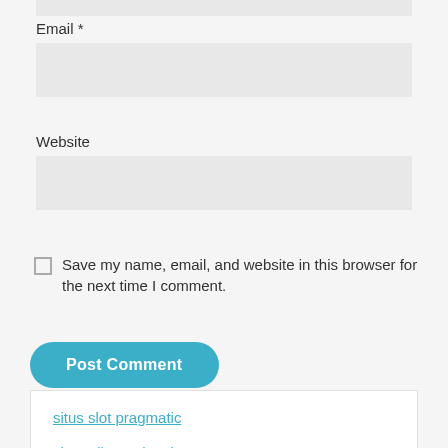Email *
Website
Save my name, email, and website in this browser for the next time I comment.
Post Comment
situs slot pragmatic
slot online terlengkap